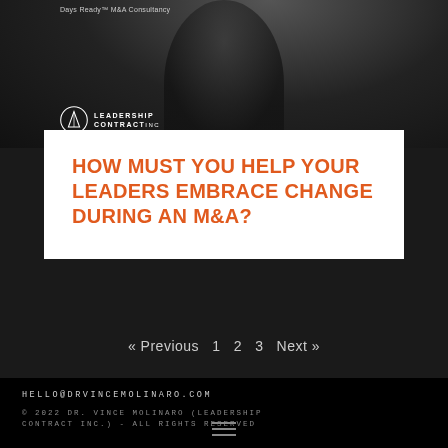[Figure (photo): Black and white photo of a man in a dark suit, with 'Days Ready M&A Consultancy' text and Leadership Contract Inc. logo overlay]
HOW MUST YOU HELP YOUR LEADERS EMBRACE CHANGE DURING AN M&A?
« Previous  1  2  3  Next »
HELLO@DRVINCEMOLINARO.COM
© 2022 DR. VINCE MOLINARO (LEADERSHIP CONTRACT INC.) - ALL RIGHTS RESERVED